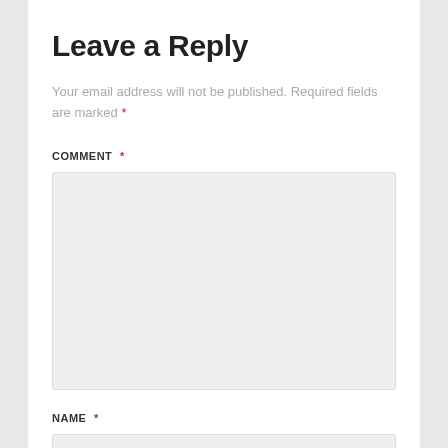Leave a Reply
Your email address will not be published. Required fields are marked *
COMMENT *
[Figure (other): Empty comment text area input field with light gray background]
NAME *
[Figure (other): Empty name text input field with light gray background, partially visible]